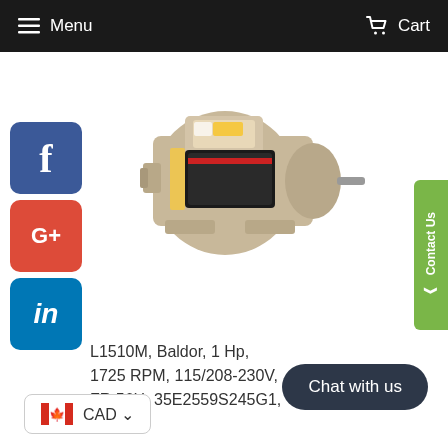Menu   Cart
[Figure (photo): Baldor electric motor, tan/beige colored, single-phase motor with nameplate label, horizontal shaft visible on right side]
L1510M, Baldor, 1 Hp, 1725 RPM, 115/208-230V, FR:56H, 35E2559S245G1, TEFC
$592.92 CAD
CAD
Chat with us